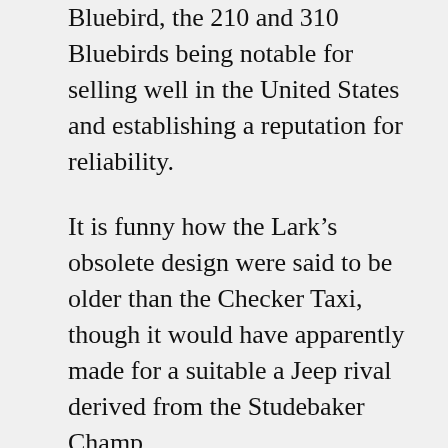Bluebird, the 210 and 310 Bluebirds being notable for selling well in the United States and establishing a reputation for reliability.
It is funny how the Lark's obsolete design were said to be older than the Checker Taxi, though it would have apparently made for a suitable a Jeep rival derived from the Studebaker Champ.
Based on Nash and AMC's success with the Rambler and Rambler American, one can only wonder how Studebaker-Packard would have fared had Romney been able to convince them of an alliance instead of a full merger or at least a short-term alliance where the Lark ends up being based on the Rambler American platform yet with different styling (like the IKA Torino)